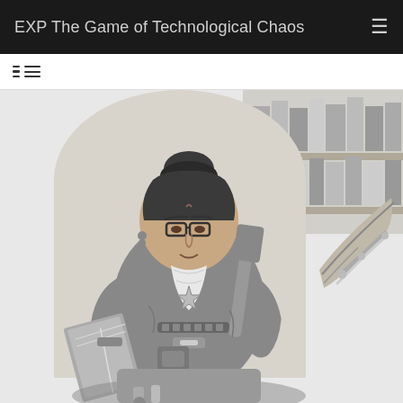EXP The Game of Technological Chaos
[Figure (illustration): Black and white ink illustration of a female character with hair in a bun, wearing glasses and a vest with a sheriff-style badge, holding an open book in one hand, with a large wrench or axe on her back, ammunition belt across her torso, set in front of a bookshelf filled with books. A skeletal creature or wing appears to the right side.]